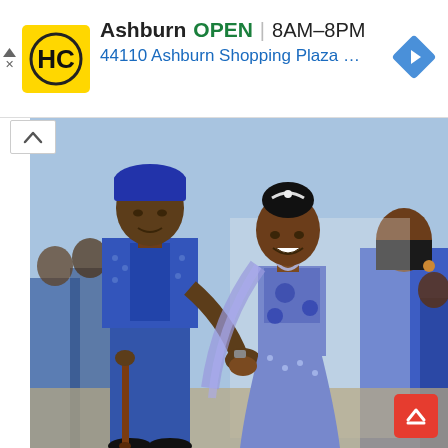[Figure (other): Advertisement banner: HC logo (yellow background with black HC letters), store name 'Ashburn', status 'OPEN', hours '8AM–8PM', address '44110 Ashburn Shopping Plaza 190, A...' with a blue navigation arrow diamond icon.]
[Figure (photo): Photograph of a couple at what appears to be a traditional African wedding ceremony. A man in blue traditional attire with a cap holds a walking stick and holds the woman's hand. The woman wears a blue lace/beaded dress with fringe accents. A woman in a blue outfit is visible in the background.]